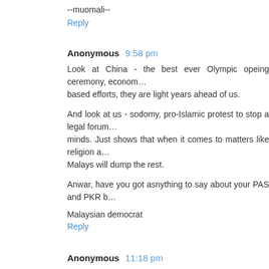--muomali--
Reply
Anonymous  9:58 pm
Look at China - the best ever Olympic opeing ceremony, econom... based efforts, they are light years ahead of us.
And look at us - sodomy, pro-Islamic protest to stop a legal forum... minds. Just shows that when it comes to matters like religion a... Malays will dump the rest.
Anwar, have you got asnything to say about your PAS and PKR b...
Malaysian democrat
Reply
Anonymous  11:18 pm
In response to what nasionlis wrote; this is the mentality of a pe... past civilization thinking. How will all Malaysian Chinese or Indians... place where we were born, when we always been reminde... descendant. Should Nicole Davis not raise Malaysia's flag or ca... she became the world no.1 in the world of squash? Or our Mala...